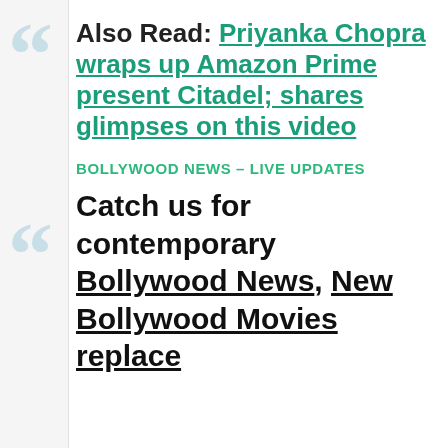Also Read: Priyanka Chopra wraps up Amazon Prime present Citadel; shares glimpses on this video
BOLLYWOOD NEWS – LIVE UPDATES
Catch us for contemporary Bollywood News, New Bollywood Movies replace